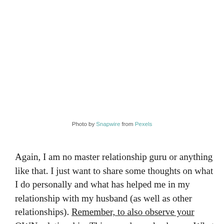Photo by Snapwire from Pexels
Again, I am no master relationship guru or anything like that. I just want to share some thoughts on what I do personally and what has helped me in my relationship with my husband (as well as other relationships). Remember, to also observe your OWN relationship. Things and people change. What might have worked two years ago might not